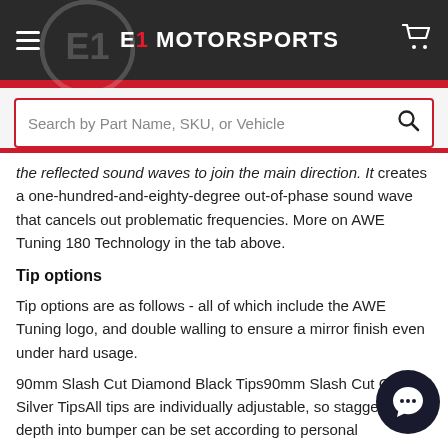E1 MOTORSPORTS
[Figure (screenshot): Search bar with placeholder text 'Search by Part Name, SKU, or Vehicle' and a red border]
the reflected sound waves to join the main direction. It creates a one-hundred-and-eighty-degree out-of-phase sound wave that cancels out problematic frequencies. More on AWE Tuning 180 Technology in the tab above.
Tip options
Tip options are as follows - all of which include the AWE Tuning logo, and double walling to ensure a mirror finish even under hard usage.
90mm Slash Cut Diamond Black Tips90mm Slash Cut Chrome Silver TipsAll tips are individually adjustable, so stagger and depth into bumper can be set according to personal
Resonated or Non-Resonated?
We offer Resonated and Non-Resonated Exhaust Systems. Our